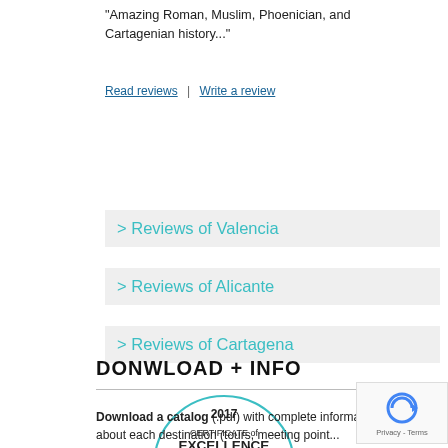“Amazing Roman, Muslim, Phoenician, and Cartagenian history...”
Read reviews | Write a review
> Reviews of Valencia
> Reviews of Alicante
> Reviews of Cartagena
[Figure (logo): TripAdvisor 2017 Certificate of Excellence badge with owl logo]
DONWLOAD + INFO
Download a catalog (.pdf) with complete information about each destination (tours, meeting point...